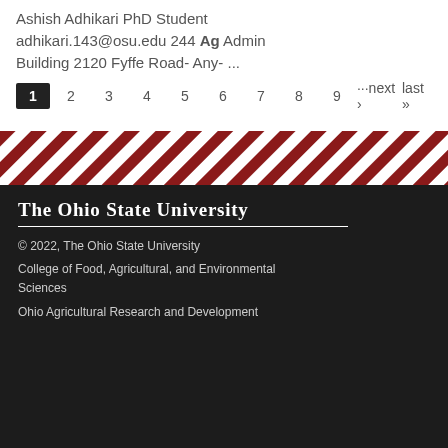Ashish Adhikari PhD Student adhikari.143@osu.edu 244 Ag Admin Building 2120 Fyffe Road- Any- ...
1 2 3 4 5 6 7 8 9 ···next › last »
[Figure (other): Diagonal red and white striped decorative bar]
The Ohio State University
© 2022, The Ohio State University
College of Food, Agricultural, and Environmental Sciences
Ohio Agricultural Research and Development